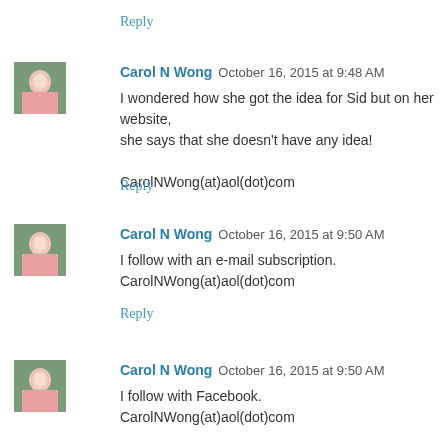Reply
[Figure (photo): Avatar photo of Carol N Wong]
Carol N Wong  October 16, 2015 at 9:48 AM
I wondered how she got the idea for Sid but on her website, she says that she doesn't have any idea!

CarolNWong(at)aol(dot)com
Reply
[Figure (photo): Avatar photo of Carol N Wong]
Carol N Wong  October 16, 2015 at 9:50 AM
I follow with an e-mail subscription.
CarolNWong(at)aol(dot)com
Reply
[Figure (photo): Avatar photo of Carol N Wong]
Carol N Wong  October 16, 2015 at 9:50 AM
I follow with Facebook.
CarolNWong(at)aol(dot)com